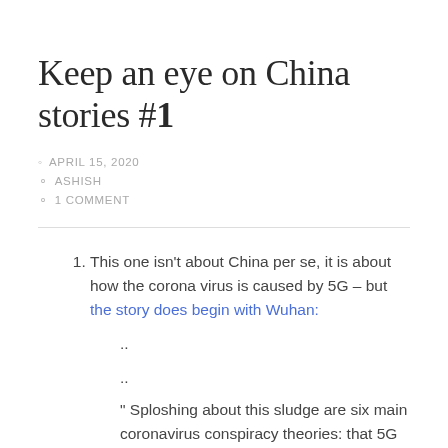Keep an eye on China stories #1
APRIL 15, 2020
ASHISH
1 COMMENT
This one isn't about China per se, it is about how the corona virus is caused by 5G – but the story does begin with Wuhan:
..
..
" Sploshing about this sludge are six main coronavirus conspiracy theories: that 5G is,